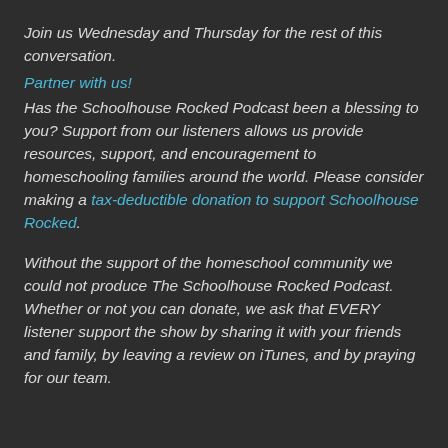Join us Wednesday and Thursday for the rest of this conversation.
Partner with us!
Has the Schoolhouse Rocked Podcast been a blessing to you? Support from our listeners allows us provide resources, support, and encouragement to homeschooling families around the world. Please consider making a tax-deductible donation to support Schoolhouse Rocked.
Without the support of the homeschool community we could not produce The Schoolhouse Rocked Podcast. Whether or not you can donate, we ask that EVERY listener support the show by sharing it with your friends and family, by leaving a review on iTunes, and by praying for our team.